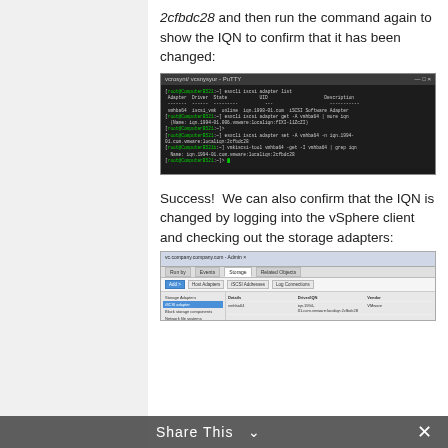2cfbdc28 and then run the command again to show the IQN to confirm that it has been changed:
[Figure (screenshot): Terminal/PuTTY window showing SSH session with esxcli iscsi adapter commands and output confirming IQN change.]
Success!  We can also confirm that the IQN is changed by logging into the vSphere client and checking out the storage adapters:
[Figure (screenshot): vSphere client window showing storage adapters panel with iSCSI adapter selected and IQN displayed.]
Share This